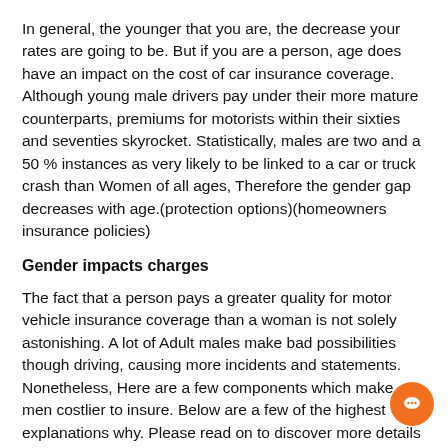In general, the younger that you are, the decrease your rates are going to be. But if you are a person, age does have an impact on the cost of car insurance coverage. Although young male drivers pay under their more mature counterparts, premiums for motorists within their sixties and seventies skyrocket. Statistically, males are two and a 50 % instances as very likely to be linked to a car or truck crash than Women of all ages, Therefore the gender gap decreases with age.(protection options)(homeowners insurance policies)
Gender impacts charges
The fact that a person pays a greater quality for motor vehicle insurance coverage than a woman is not solely astonishing. A lot of Adult males make bad possibilities though driving, causing more incidents and statements. Nonetheless, Here are a few components which make men costlier to insure. Below are a few of the highest explanations why. Please read on to discover more details on the most